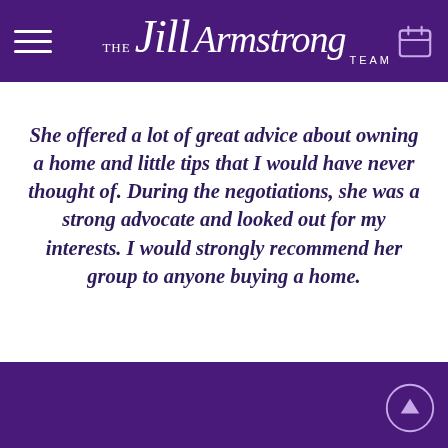THE Jill Armstrong TEAM
She offered a lot of great advice about owning a home and little tips that I would have never thought of. During the negotiations, she was a strong advocate and looked out for my interests. I would strongly recommend her group to anyone buying a home.